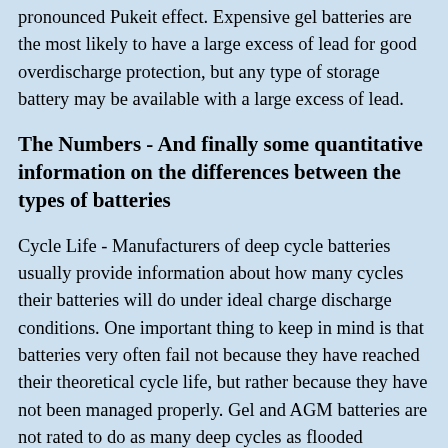pronounced Pukeit effect. Expensive gel batteries are the most likely to have a large excess of lead for good overdischarge protection, but any type of storage battery may be available with a large excess of lead.
The Numbers - And finally some quantitative information on the differences between the types of batteries
Cycle Life - Manufacturers of deep cycle batteries usually provide information about how many cycles their batteries will do under ideal charge discharge conditions. One important thing to keep in mind is that batteries very often fail not because they have reached their theoretical cycle life, but rather because they have not been managed properly. Gel and AGM batteries are not rated to do as many deep cycles as flooded batteries, yet in practice gel and AGM batteries often last longer in the same application. This is usually due to cheap flooded batteries with a deficit in lead being overdischarged. Typical data for a cycle life at 80%